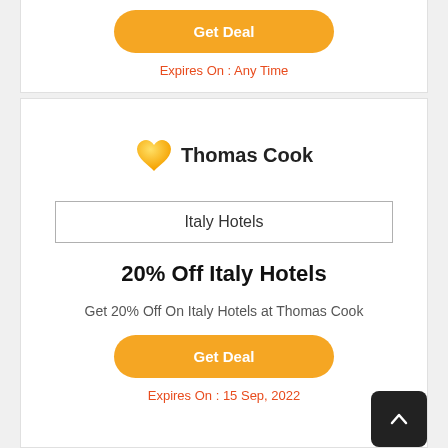Get Deal
Expires On : Any Time
[Figure (logo): Thomas Cook logo with yellow heart icon]
Italy Hotels
20% Off Italy Hotels
Get 20% Off On Italy Hotels at Thomas Cook
Get Deal
Expires On : 15 Sep, 2022